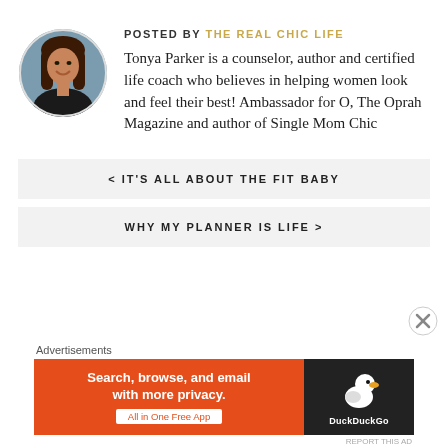POSTED BY THE REAL CHIC LIFE
Tonya Parker is a counselor, author and certified life coach who believes in helping women look and feel their best! Ambassador for O, The Oprah Magazine and author of Single Mom Chic
[Figure (photo): Circular portrait photo of Tonya Parker, a woman with long brown hair, smiling, wearing a black top]
< IT'S ALL ABOUT THE FIT BABY
WHY MY PLANNER IS LIFE >
Advertisements
[Figure (infographic): DuckDuckGo advertisement banner: orange background with text 'Search, browse, and email with more privacy. All in One Free App' and DuckDuckGo logo on dark background]